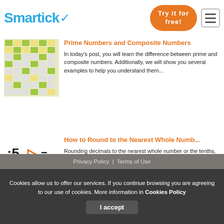[Figure (logo): Smartick logo with blue text and checkmark]
[Figure (other): Orange 'Try it for free!' button]
[Figure (other): Hamburger menu icon]
[Figure (other): Thumbnail of prime numbers grid table]
Prime Numbers and Composite Numbers
In today's post, you will learn the difference between prime and composite numbers. Additionally, we will show you several examples to help you understand them...
[Figure (other): Rounding decimals illustration with arrows]
How to Round to the Nearest Whole Numb...
Rounding decimals to the nearest whole number or the tenths, hundredths, thousandths is easy! In this post, we are going to learn to round decimal numbers. R...
Privacy Policy | Terms of Use
Cookies allow us to offer our services. If you continue browsing you are agreeing to our use of cookies. More information in Cookies Policy
I accept